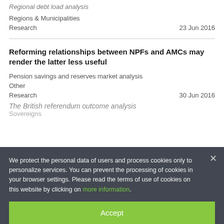Regional debt load analysis
Regions & Municipalities
Research                    23 Jun 2016
Reforming relationships between NPFs and AMCs may render the latter less useful
Pension savings and reserves market analysis
Other
Research                    30 Jun 2016
The British referendum outcome analysis
Sovereigns
We protect the personal data of users and process cookies only to personalize services. You can prevent the processing of cookies in your browser settings. Please read the terms of use of cookies on this website by clicking on more information.